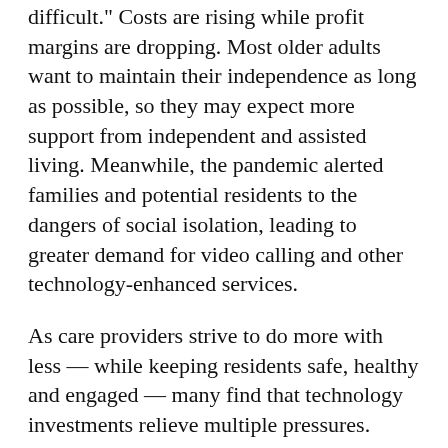difficult." Costs are rising while profit margins are dropping. Most older adults want to maintain their independence as long as possible, so they may expect more support from independent and assisted living. Meanwhile, the pandemic alerted families and potential residents to the dangers of social isolation, leading to greater demand for video calling and other technology-enhanced services.
As care providers strive to do more with less — while keeping residents safe, healthy and engaged — many find that technology investments relieve multiple pressures.
Remote patient monitoring (RPM), smart home solutions, mobile devices and digital workflows deliver benefits across the care spectrum. For residents in independent and assisted living, such tools help maintain autonomy, safety and social engagement. In nursing homes, mobile solutions and digital workflows help keep residents safe and